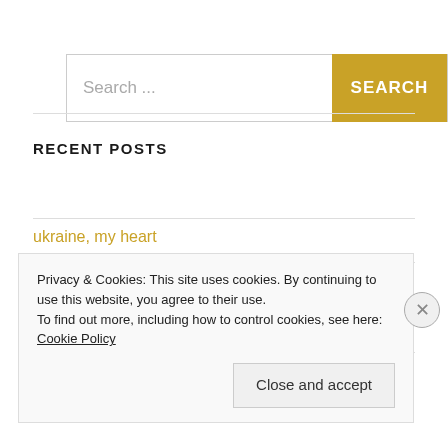[Figure (screenshot): Search bar with placeholder text 'Search ...' and a gold 'SEARCH' button on the right]
RECENT POSTS
ukraine, my heart
the in between space
tikva's quilt
Privacy & Cookies: This site uses cookies. By continuing to use this website, you agree to their use.
To find out more, including how to control cookies, see here: Cookie Policy
Close and accept